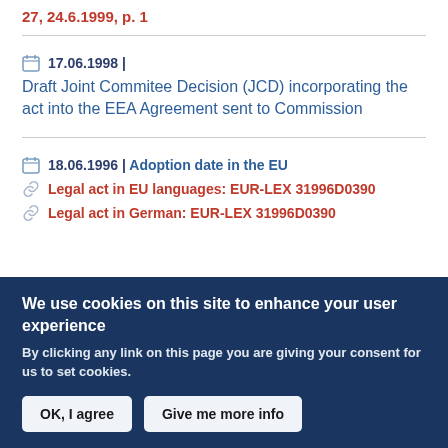27, 24.6.1999, p. 1
17.06.1998 | Draft Joint Commitee Decision (JCD) incorporating the act into the EEA Agreement sent to Commission
18.06.1996 | Adoption date in the EU
Legal act in EU languages: EUR-LEX 31996D0390
Legal act in German: EUR-LEX 31996D0390
We use cookies on this site to enhance your user experience
By clicking any link on this page you are giving your consent for us to set cookies.